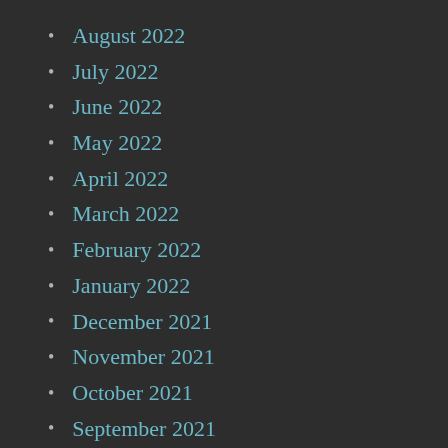August 2022
July 2022
June 2022
May 2022
April 2022
March 2022
February 2022
January 2022
December 2021
November 2021
October 2021
September 2021
August 2021
July 2021
June 2021
May 2021